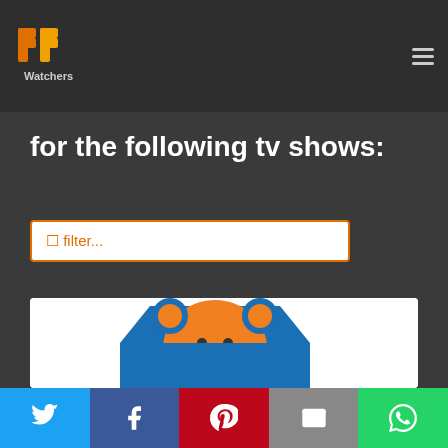PP Watchers logo and navigation menu
for the following tv shows:
filter...
[Figure (illustration): Bear in the Big Blue House TV show card with logo and characters]
Social share buttons: Twitter, Facebook, Pinterest, Email, WhatsApp